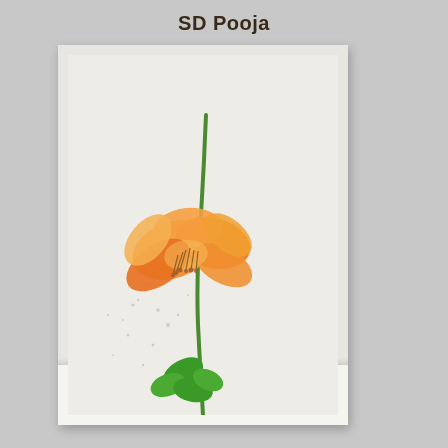SD Pooja
[Figure (illustration): A birthday greeting card featuring a large orange flower (resembling a columbine or poppy) with a long green stem and green leaves at the bottom, set against a light grey background with ink splatter. On the right side is a vertical strip with 'HAPPY BIRTHDAY' text written vertically in a graffiti/brush style in grey.]